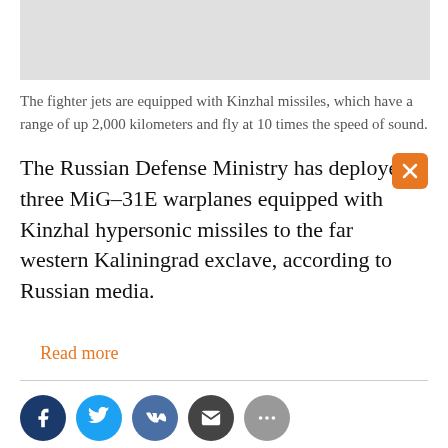[Figure (photo): Gray placeholder image area at top of page]
The fighter jets are equipped with Kinzhal missiles, which have a range of up 2,000 kilometers and fly at 10 times the speed of sound.
The Russian Defense Ministry has deployed three MiG-31E warplanes equipped with Kinzhal hypersonic missiles to the far western Kaliningrad exclave, according to Russian media.
Read more
[Figure (infographic): Social sharing icons: Facebook, Twitter, VK, Email, More]
21